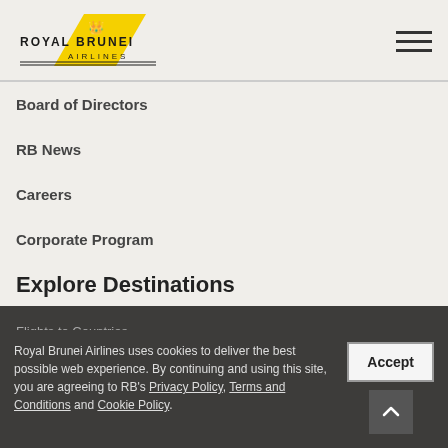[Figure (logo): Royal Brunei Airlines logo with crown and yellow parallelogram]
Board of Directors
RB News
Careers
Corporate Program
Explore Destinations
Flights to Countries
Flights to Cities
City to City Flights
Royal Brunei Airlines uses cookies to deliver the best possible web experience. By continuing and using this site, you are agreeing to RB's Privacy Policy, Terms and Conditions and Cookie Policy.